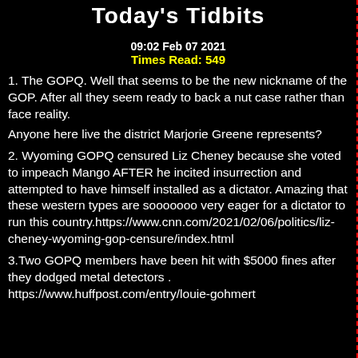Today's Tidbits
09:02 Feb 07 2021
Times Read: 549
1. The GOPQ. Well that seems to be the new nickname of the GOP. After all they seem ready to back a nut case rather than face reality.
Anyone here live the district Marjorie Greene represents?
2. Wyoming GOPQ censured Liz Cheney because she voted to impeach Mango AFTER he incited insurrection and attempted to have himself installed as a dictator. Amazing that these western types are sooooooo very eager for a dictator to run this country.https://www.cnn.com/2021/02/06/politics/liz-cheney-wyoming-gop-censure/index.html
3.Two GOPQ members have been hit with $5000 fines after they dodged metal detectors .
https://www.huffpost.com/entry/louie-gohmert...